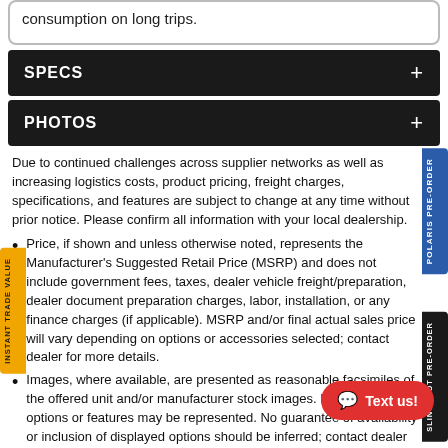consumption on long trips.
SPECS
PHOTOS
Due to continued challenges across supplier networks as well as increasing logistics costs, product pricing, freight charges, specifications, and features are subject to change at any time without prior notice. Please confirm all information with your local dealership.
Price, if shown and unless otherwise noted, represents the Manufacturer's Suggested Retail Price (MSRP) and does not include government fees, taxes, dealer vehicle freight/preparation, dealer document preparation charges, labor, installation, or any finance charges (if applicable). MSRP and/or final actual sales price will vary depending on options or accessories selected; contact dealer for more details.
Images, where available, are presented as reasonable facsimiles of the offered unit and/or manufacturer stock images. Non-standard options or features may be represented. No guarantee of availability or inclusion of displayed options should be inferred; contact dealer for more details.